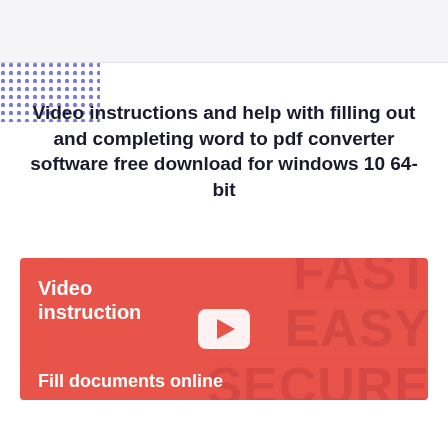[Figure (other): Blue dotted decorative element in top-left corner area]
Video instructions and help with filling out and completing word to pdf converter software free download for windows 10 64-bit
[Figure (screenshot): Red video instruction box with 'Video instruction' label, watermark text FAST EASY SECURE, YouTube play button in center, and 'Fill documents online' text at bottom]